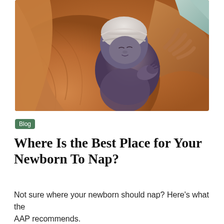[Figure (photo): Close-up photo of a newborn baby in a white knit hat being held skin-to-skin against an adult's bare chest, with another adult's hands visible supporting the baby. The image has warm orange and brown tones with a painterly/illustrated quality.]
Blog
Where Is the Best Place for Your Newborn To Nap?
Not sure where your newborn should nap? Here's what the AAP recommends.